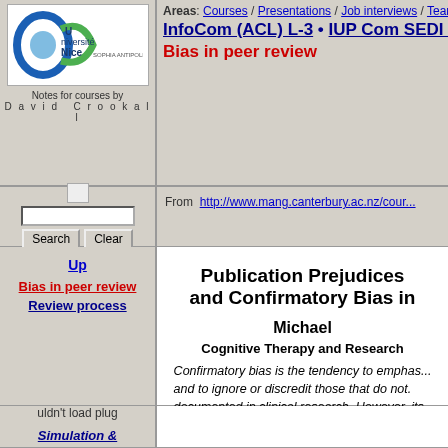[Figure (logo): Université Nice Sophia Antipolis logo with blue and green circular design]
Notes for courses by David Crookall
Areas: Courses / Presentations / Job interviews / Teamwork / ...
InfoCom (ACL) L-3 • IUP Com SEDI L3 • IU... • Bias in peer review
[Figure (other): Small image icon placeholder]
From  http://www.mang.canterbury.ac.nz/cour...
Up
Bias in peer review
Review process
Publication Prejudices and Confirmatory Bias in...
Michael...
Cognitive Therapy and Research...
Confirmatory bias is the tendency to emphasize and to ignore or discredit those that do not. documented in clinical research. However, its to be adequately explored. For example, although the contribution and impact of scientific findings...
uldn't load plug
Simulation &